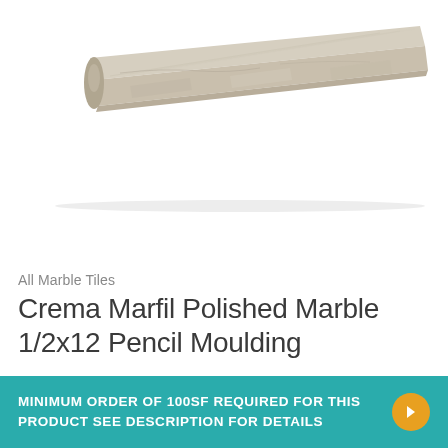[Figure (photo): A long, narrow pencil moulding strip made of Crema Marfil polished marble, shown diagonally from lower-left to upper-right against a white background. The moulding has a rounded bullnose profile on the left end and tapers into the distance.]
All Marble Tiles
Crema Marfil Polished Marble 1/2x12 Pencil Moulding
MINIMUM ORDER OF 100SF REQUIRED FOR THIS PRODUCT SEE DESCRIPTION FOR DETAILS